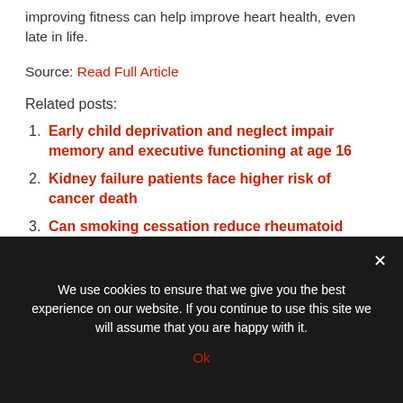improving fitness can help improve heart health, even late in life.
Source: Read Full Article
Related posts:
Early child deprivation and neglect impair memory and executive functioning at age 16
Kidney failure patients face higher risk of cancer death
Can smoking cessation reduce rheumatoid arthritis risk?
We use cookies to ensure that we give you the best experience on our website. If you continue to use this site we will assume that you are happy with it.
Ok